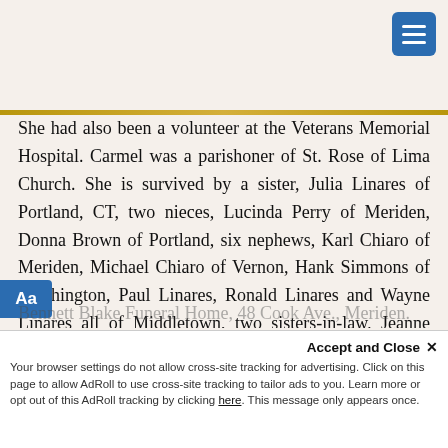She had also been a volunteer at the Veterans Memorial Hospital. Carmel was a parishoner of St. Rose of Lima Church. She is survived by a sister, Julia Linares of Portland, CT, two nieces, Lucinda Perry of Meriden, Donna Brown of Portland, six nephews, Karl Chiaro of Meriden, Michael Chiaro of Vernon, Hank Simmons of Southington, Paul Linares, Ronald Linares and Wayne Linares all of Middletown, two sisters-in-law, Jeanne Chiaro of Plainville, Helene Podgorski of Meriden and several grand nieces and nephews. She was predeceased by two sisters, Josephine Simmons, Grace Chiaro and a brother, Rocco Chiaro. A graveside funeral service will be held Saturday, August 20, at 10 a.m. at Sacred Heart Cemetery. Friends may call Friday, August 19 from 5 to 7 p.m. at the Beecher & Bennett Blake Funeral Home, 48 Cook Ave., Meriden.
Accept and Close X Your browser settings do not allow cross-site tracking for advertising. Click on this page to allow AdRoll to use cross-site tracking to tailor ads to you. Learn more or opt out of this AdRoll tracking by clicking here. This message only appears once.